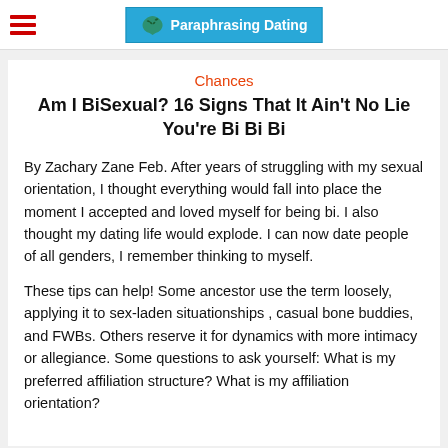Paraphrasing Dating
Chances
Am I BiSexual? 16 Signs That It Ain't No Lie You're Bi Bi Bi
By Zachary Zane Feb. After years of struggling with my sexual orientation, I thought everything would fall into place the moment I accepted and loved myself for being bi. I also thought my dating life would explode. I can now date people of all genders, I remember thinking to myself.
These tips can help! Some ancestor use the term loosely, applying it to sex-laden situationships , casual bone buddies, and FWBs. Others reserve it for dynamics with more intimacy or allegiance. Some questions to ask yourself: What is my preferred affiliation structure? What is my affiliation orientation?